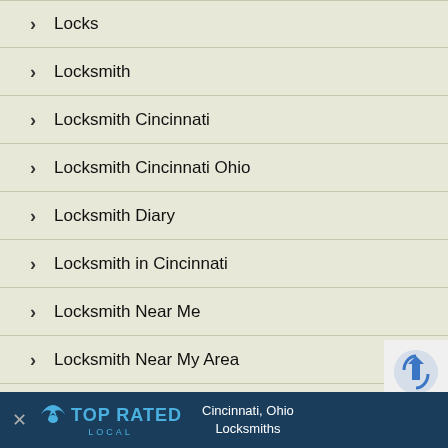Locks
Locksmith
Locksmith Cincinnati
Locksmith Cincinnati Ohio
Locksmith Diary
Locksmith in Cincinnati
Locksmith Near Me
Locksmith Near My Area
Locksmith Northern Kentucky
Locksmith Tip
[Figure (screenshot): Top Rated Local banner advertisement for Cincinnati, Ohio Locksmiths with close button and bird logo]